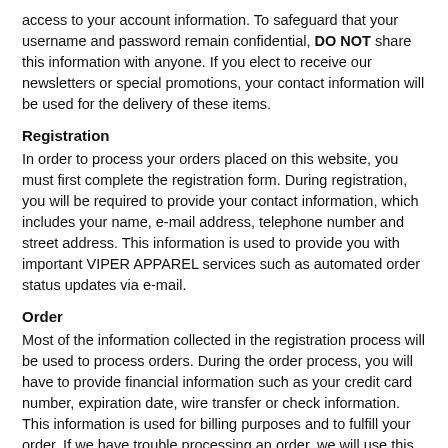access to your account information. To safeguard that your username and password remain confidential, DO NOT share this information with anyone. If you elect to receive our newsletters or special promotions, your contact information will be used for the delivery of these items.
Registration
In order to process your orders placed on this website, you must first complete the registration form. During registration, you will be required to provide your contact information, which includes your name, e-mail address, telephone number and street address. This information is used to provide you with important VIPER APPAREL services such as automated order status updates via e-mail.
Order
Most of the information collected in the registration process will be used to process orders. During the order process, you will have to provide financial information such as your credit card number, expiration date, wire transfer or check information. This information is used for billing purposes and to fulfill your order. If we have trouble processing an order, we will use this contact information to get in touch with you. To properly process your credit card information, we must share your personal and financial information with the merchant bank for authorization and approval. This process is protected by an enhanced security system. See the Security section below for more details on security measures and procedures. We do not share your personal and financial information with any third parties, except those specified in the